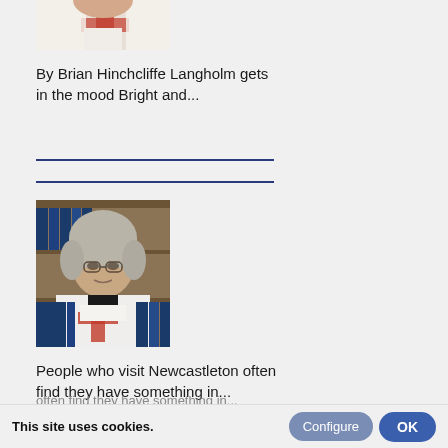[Figure (photo): Partial view of a person in ceremonial white and red regalia, cropped at top of page]
By Brian Hinchcliffe Langholm gets in the mood Bright and...
[Figure (photo): Man wearing a grey judicial wig and glasses, dressed in white ceremonial robes with red cross emblem, standing in front of bookshelves filled with blue legal volumes]
People who visit Newcastleton often find they have something in...
This site uses cookies.